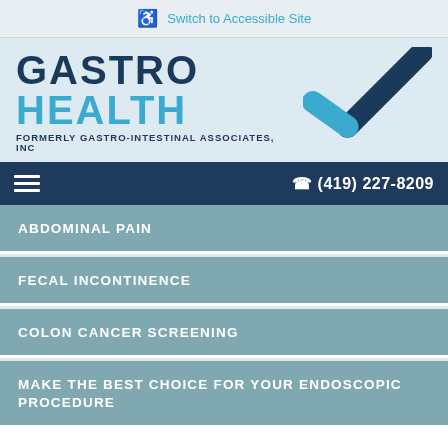Switch to Accessible Site
[Figure (logo): Gastro Health logo with checkmark — formerly Gastro-Intestinal Associates, Inc]
(419) 227-8209
ABDOMINAL PAIN
FECAL INCONTINENCE
COLON CANCER SCREENING
MAKE THE BEST CHOICE FOR YOUR ENDOSCOPIC PROCEDURE